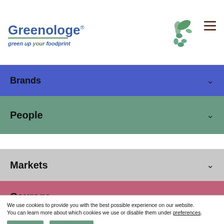Greenologe® — green up your foodprint
Brands
People
Markets
Courage
We use cookies to provide you with the best possible experience on our website.
You can learn more about which cookies we use or disable them under preferences.
Agree | Disagree